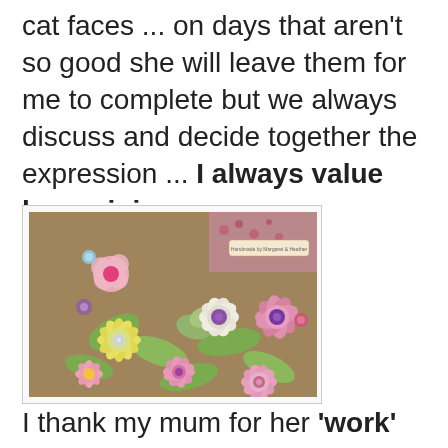cat faces ... on days that aren't so good she will leave them for me to complete but we always discuss and decide together the expression ... I always value her opinion.
[Figure (photo): Handmade paper craft flowers in pink, white, yellow and purple on a brown background with green leaves and jewel embellishments. A label reads 'Handmade by Margaret & Heather'.]
I thank my mum for her 'work' and say